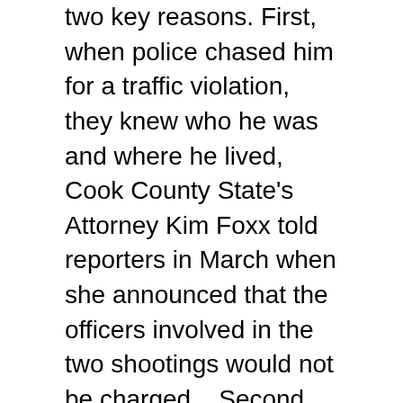two key reasons. First, when police chased him for a traffic violation, they knew who he was and where he lived, Cook County State's Attorney Kim Foxx told reporters in March when she announced that the officers involved in the two shootings would not be charged. . Second, officers can no longer chase people suspected of the type of misdemeanor that led to the chase on foot.
The policy includes a number of circumstances in which an officer must call off a pursuit, including a requirement that the pursuit must end if a third party is injured and needs immediate medical care that no one else can provide. If officers realize they don't know exactly where they are, which is possible in a chaotic situation